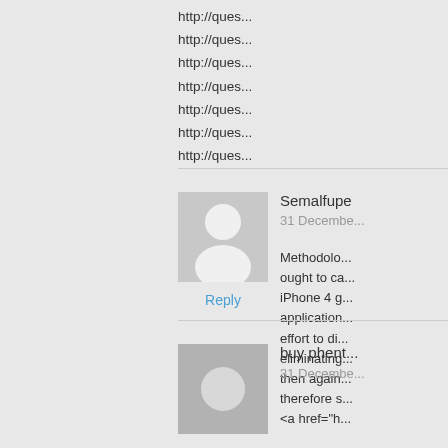http://ques...
http://ques...
http://ques...
http://ques...
http://ques...
http://ques...
http://ques...
[Figure (illustration): Default user avatar placeholder - grey square with white person silhouette icon]
Reply
Semalfupe
31 December
Methodolo... ought to ca... iPhone 4 g... application... effort to di... eliminating... then again... therefore s... <a href="h...
[Figure (illustration): Default user avatar placeholder - grey square with circular icon]
buy phent...
31 December